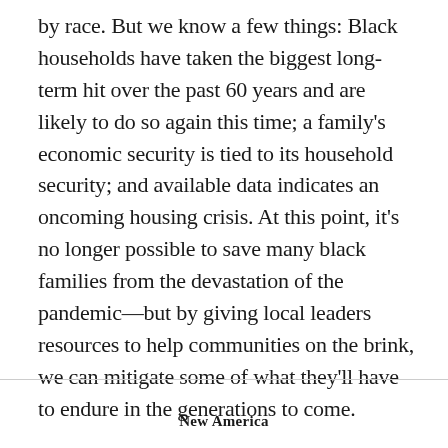by race. But we know a few things: Black households have taken the biggest long-term hit over the past 60 years and are likely to do so again this time; a family's economic security is tied to its household security; and available data indicates an oncoming housing crisis. At this point, it's no longer possible to save many black families from the devastation of the pandemic—but by giving local leaders resources to help communities on the brink, we can mitigate some of what they'll have to endure in the generations to come.
New America